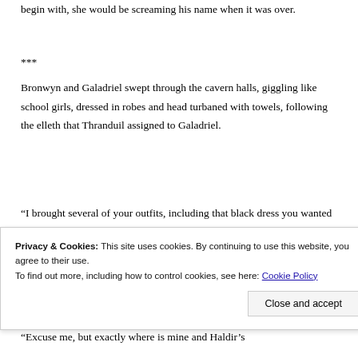begin with, she would be screaming his name when it was over.
***
Bronwyn and Galadriel swept through the cavern halls, giggling like school girls, dressed in robes and head turbaned with towels, following the elleth that Thranduil assigned to Galadriel.
“I brought several of your outfits, including that black dress you wanted secretly made for Haldir. I also brought your make up bag and all the nail tints I could find. I think Rumil was happy I was packing for you
Privacy & Cookies: This site uses cookies. By continuing to use this website, you agree to their use.
To find out more, including how to control cookies, see here: Cookie Policy
“Excuse me, but exactly where is mine and Haldir’s